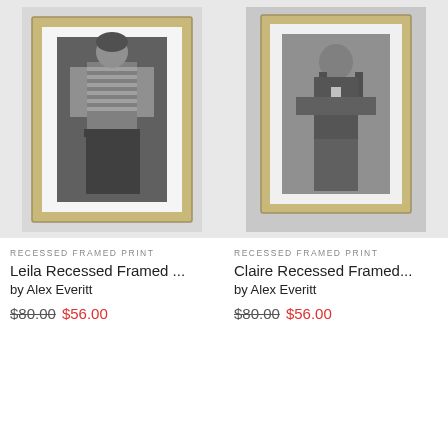[Figure (photo): Leila Recessed Framed Print - black and white photo of a woman in a striped tank top, displayed in a light wood frame with white mat, mounted on light gray wall]
RECESSED FRAMED PRINT
Leila Recessed Framed ...
by Alex Everitt
$80.00  $56.00
[Figure (photo): Claire Recessed Framed Print - black and white photo of a woman with arms crossed, displayed in a light wood frame with white mat, mounted on light gray wall]
RECESSED FRAMED PRINT
Claire Recessed Framed...
by Alex Everitt
$80.00  $56.00
[Figure (photo): Partially visible product image placeholder (gray rectangle), bottom-left]
[Figure (photo): Partially visible product image placeholder (gray rectangle), bottom-right]